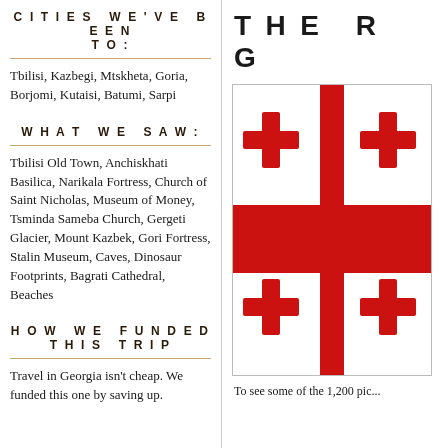CITIES WE'VE BEEN TO:
Tbilisi, Kazbegi, Mtskheta, Goria, Borjomi, Kutaisi, Batumi, Sarpi
WHAT WE SAW:
Tbilisi Old Town, Anchiskhati Basilica, Narikala Fortress, Church of Saint Nicholas, Museum of Money, Tsminda Sameba Church, Gergeti Glacier, Mount Kazbek, Gori Fortress, Stalin Museum, Caves, Dinosaur Footprints, Bagrati Cathedral, Beaches
HOW WE FUNDED THIS TRIP
Travel in Georgia isn't cheap. We funded this one by saving up.
THE R G
[Figure (illustration): Georgian flag showing white background with large red cross and four smaller red crosses in each quadrant, plus a horizontal red stripe across the middle]
To see some of the 1,200 pic...